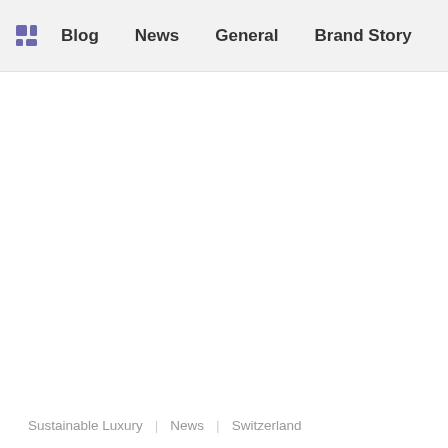Blog  News  General  Brand Story  Fashion
Sustainable Luxury  |  News  |  Switzerland